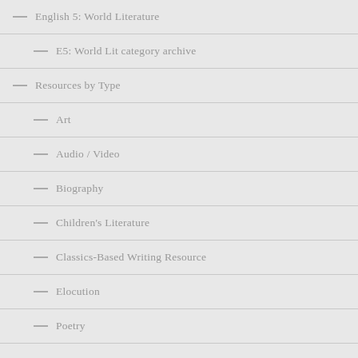English 5: World Literature
E5: World Lit category archive
Resources by Type
Art
Audio / Video
Biography
Children's Literature
Classics-Based Writing Resource
Elocution
Poetry